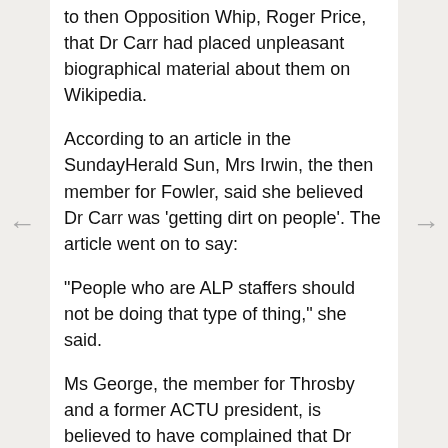to then Opposition Whip, Roger Price, that Dr Carr had placed unpleasant biographical material about them on Wikipedia.
According to an article in the SundayHerald Sun, Mrs Irwin, the then member for Fowler, said she believed Dr Carr was 'getting dirt on people'. The article went on to say:
"People who are ALP staffers should not be doing that type of thing," she said.
Ms George, the member for Throsby and a former ACTU president, is believed to have complained that Dr Carr wrote she was a member of the Communist Party in the 1970s.
The entry was later changed to describe her as an "alleged" former member.
The Whip would not comment, but it is believed he